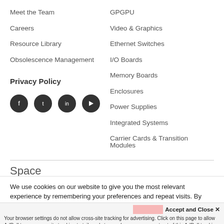Meet the Team
Careers
Resource Library
Obsolescence Management
GPGPU
Video & Graphics
Ethernet Switches
I/O Boards
Memory Boards
Enclosures
Power Supplies
Integrated Systems
Carrier Cards & Transition Modules
Privacy Policy
[Figure (illustration): Four social media icons (Facebook, Twitter, LinkedIn, YouTube) as dark circular buttons]
Space
We use cookies on our website to give you the most relevant experience by remembering your preferences and repeat visits. By clicking “Accept”, you consent to the use of ALL the cookies.
Do not sell my personal information.
Accept and Close ×
Your browser settings do not allow cross-site tracking for advertising. Click on this page to allow AdRoll to use cross-site tracking to tailor ads to you. Learn more or opt out of this AdRoll tracking by clicking here. This message only appears once.